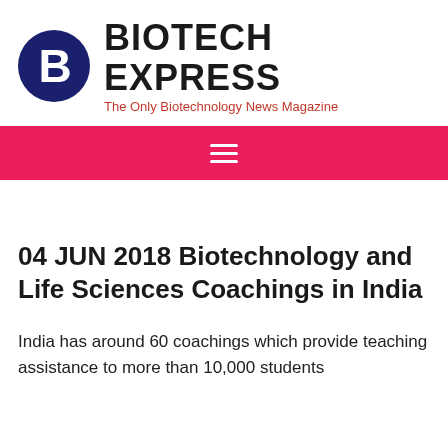[Figure (logo): Biotech Express logo: dark navy circle with white bold letter B, followed by bold text BIOTECH EXPRESS and red tagline The Only Biotechnology News Magazine]
[Figure (other): Red navigation bar with white hamburger menu icon (three horizontal lines)]
04 JUN 2018 Biotechnology and Life Sciences Coachings in India
India has around 60 coachings which provide teaching assistance to more than 10,000 students